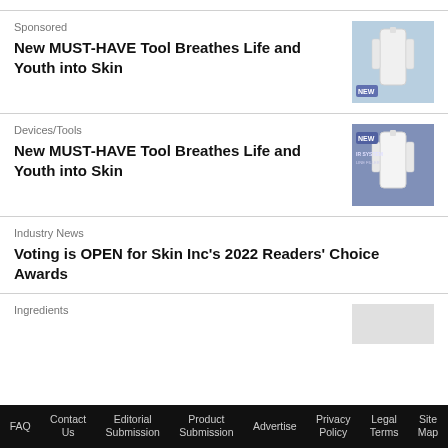Sponsored
New MUST-HAVE Tool Breathes Life and Youth into Skin
[Figure (photo): Product image showing white skin care device with blue background and 'NEW' label]
Devices/Tools
New MUST-HAVE Tool Breathes Life and Youth into Skin
[Figure (photo): Product image showing white skin care device with blue/purple background and 'NEW' label]
Industry News
Voting is OPEN for Skin Inc's 2022 Readers' Choice Awards
Ingredients
[Figure (photo): Small product thumbnail image]
FAQ  Contact Us  Editorial Submission  Product Submission  Advertise  Privacy Policy  Legal Terms  Site Map